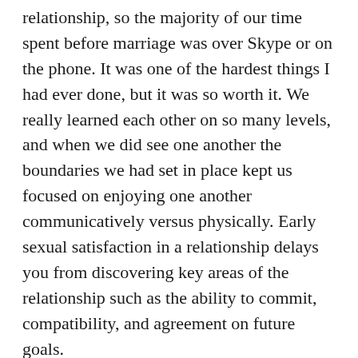relationship, so the majority of our time spent before marriage was over Skype or on the phone. It was one of the hardest things I had ever done, but it was so worth it. We really learned each other on so many levels, and when we did see one another the boundaries we had set in place kept us focused on enjoying one another communicatively versus physically. Early sexual satisfaction in a relationship delays you from discovering key areas of the relationship such as the ability to commit, compatibility, and agreement on future goals.
Click here to read more.